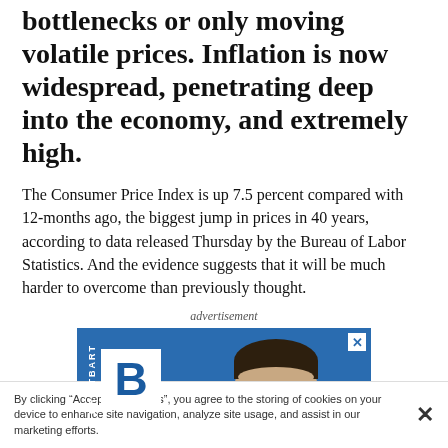bottlenecks or only moving volatile prices. Inflation is now widespread, penetrating deep into the economy, and extremely high.
The Consumer Price Index is up 7.5 percent compared with 12-months ago, the biggest jump in prices in 40 years, according to data released Thursday by the Bureau of Labor Statistics. And the evidence suggests that it will be much harder to overcome than previously thought.
[Figure (other): Advertisement banner featuring Breitbart News logo with a large white 'B' on blue background, with 'BREITBART' text and a photo of a man with dark hair against a blue background.]
By clicking "Accept All Cookies", you agree to the storing of cookies on your device to enhance site navigation, analyze site usage, and assist in our marketing efforts.